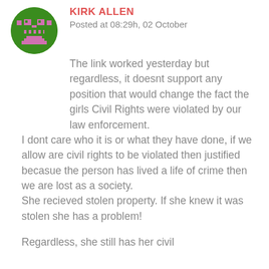[Figure (illustration): Pixel art avatar of a green robot/character face on a green circular background with pink pixel details]
KIRK ALLEN
Posted at 08:29h, 02 October
The link worked yesterday but regardless, it doesnt support any position that would change the fact the girls Civil Rights were violated by our law enforcement.
I dont care who it is or what they have done, if we allow are civil rights to be violated then justified becasue the person has lived a life of crime then we are lost as a society.
She recieved stolen property. If she knew it was stolen she has a problem!
Regardless, she still has her civil